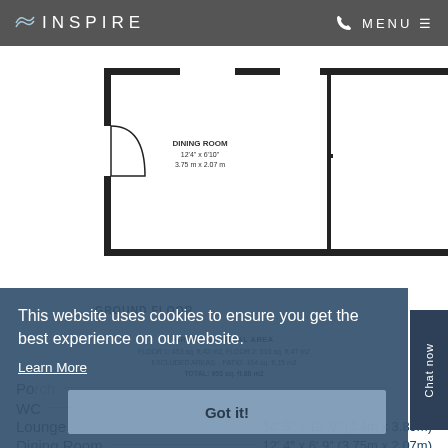INSPIRE  MENU
[Figure (schematic): Ground floor plan showing Dining Room (12'4" x 6'10", 3.75m x 2.07m) and Lounge (14'5" x 12'9", 4.40m x 3.89m) with door swings and patio door]
GROUND FLOOR
GROSS INTERNAL AREA
FLOOR 1: 453 sq. ft,42 m2, FLOOR 2: 510 sq. ft,47 m2
EXCLUDED AREAS: , PATIO: 164 sq. ft,15 m2
TOTAL: 953 sq. ft,88 m2
This website uses cookies to ensure you get the best experience on our website.
Learn More
Got it!
Chat now
Po...
WC
Lounge    14' 5" x 12' 9" (4.4m x 3.89m)
Dining Room    12' 4" x 6' 9" (3.75m x 2.07m)
Kitchen